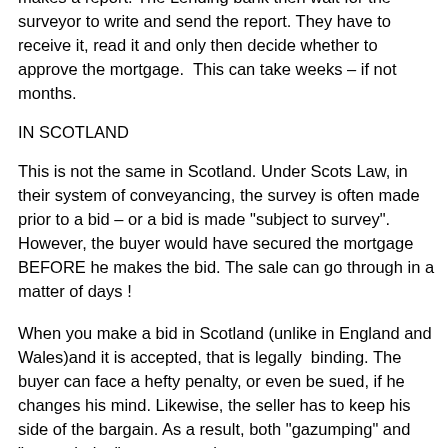approved, the lending bank or building society then send a surveyor who comes to see the property and then makes a report. The Lending bank then wait for the surveyor to write and send the report. They have to receive it, read it and only then decide whether to approve the mortgage. This can take weeks – if not months.
IN SCOTLAND
This is not the same in Scotland. Under Scots Law, in their system of conveyancing, the survey is often made prior to a bid – or a bid is made "subject to survey". However, the buyer would have secured the mortgage BEFORE he makes the bid. The sale can go through in a matter of days !
When you make a bid in Scotland (unlike in England and Wales)and it is accepted, that is legally  binding. The buyer can face a hefty penalty, or even be sued, if he changes his mind. Likewise, the seller has to keep his side of the bargain. As a result, both "gazumping" and "gazundering" are extremely rare